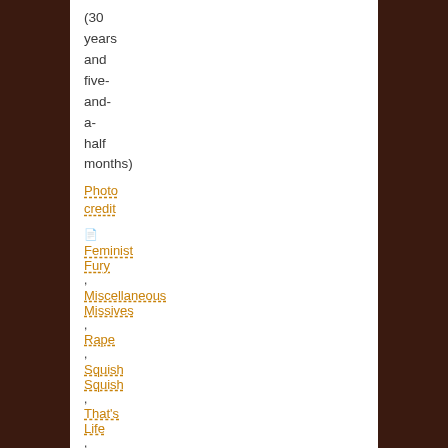(30 years and five-and-a-half months)
Photo credit
Feminist Fury
Miscellaneous Missives
Rape
Squish Squish
That's Life
Violence
Comments(15)